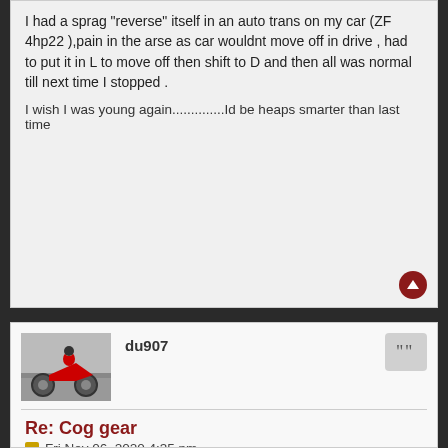I had a sprag "reverse" itself in an auto trans on my car (ZF 4hp22 ),pain in the arse as car wouldnt move off in drive , had to put it in L to move off then shift to D and then all was normal till next time I stopped .
I wish I was young again..............Id be heaps smarter than last time
du907
[Figure (photo): Avatar image of a motorcycle racer leaning into a turn]
Re: Cog gear
Fri Nov 06, 2020 4:35 pm
higgy,
Surprised you have had to put so many sprag clutches in. When I bought mine in 1992 it had 3,000 miles on it. I brought it home on a trailer, changed the oil and filter, wash and polished it, ready to ride. Push the starter button and the starter spun but didn't engage. Damn, brand new bike and I was ready to ride. I figure with new oil, everything was just more slippery. After research, took the side cover off and inspected the sprag clutch and spring was stretched and the blocks showed some flatting. Put a new sprag clutch in and it started fine. After 60,000 miles I